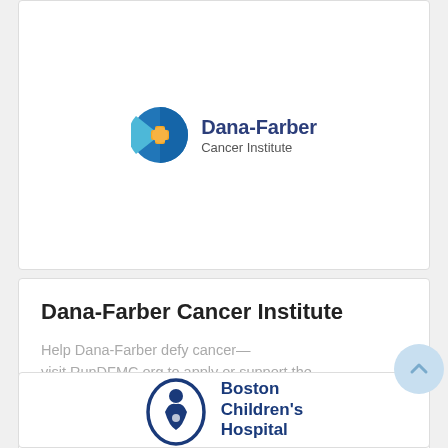[Figure (logo): Dana-Farber Cancer Institute circular logo with blue and orange design]
Dana-Farber Cancer Institute
Help Dana-Farber defy cancer—visit RunDFMC.org to apply or support the team. Dana-...
US$6,780,279*
RAISED
[Figure (logo): Boston Children's Hospital logo with nurse and child illustration in oval, blue text]